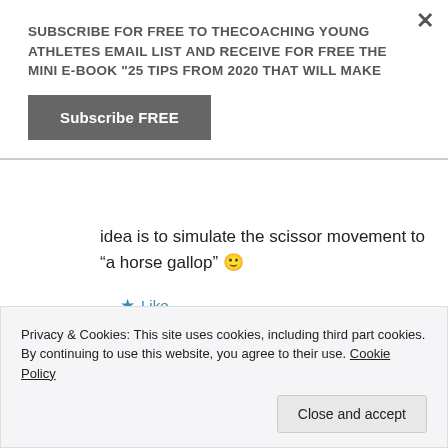SUBSCRIBE FOR FREE TO THECOACHING YOUNG ATHLETES EMAIL LIST AND RECEIVE FOR FREE THE MINI E-BOOK "25 TIPS FROM 2020 THAT WILL MAKE
Subscribe FREE
idea is to simulate the scissor movement to “a horse gallop” 🙂
★ Like
↳ Reply
Privacy & Cookies: This site uses cookies, including third part cookies. By continuing to use this website, you agree to their use. Cookie Policy
Close and accept
Hi Lindsay. Thanks for your input. A couple